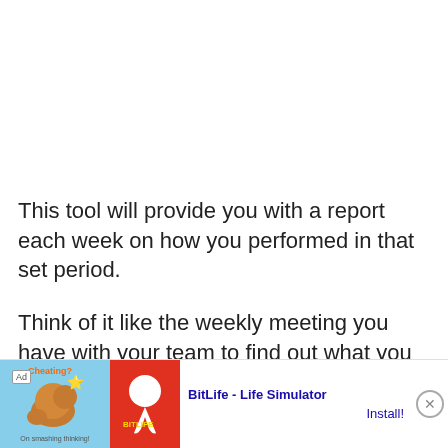This tool will provide you with a report each week on how you performed in that set period.
Think of it like the weekly meeting you have with your team to find out what you can do to improve and how everything is going.
The bro…
[Figure (screenshot): Mobile advertisement banner at the bottom of the page. Shows 'Ad' label, a graphic with arm/muscle emoji and orange 'Cheating?' text on blue background, red section with BitLife sperm logo, and text 'BitLife - Life Simulator' with a blue 'Install!' link and a close (X) button.]